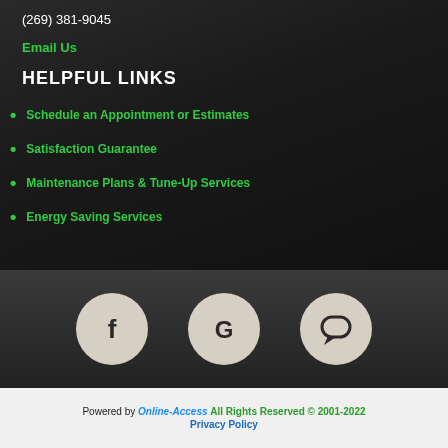(269) 381-9045
Email Us
HELPFUL LINKS
Schedule an Appointment or Estimates
Satisfaction Guarantee
Maintenance Plans & Tune-Up Services
Energy Saving Services
[Figure (illustration): Three circular social media icon buttons on dark background: Facebook (f), Google (G), and a chat/review bubble icon]
Powered by Online-Access All Rights Reserved © 2001-2022 Privacy Policy